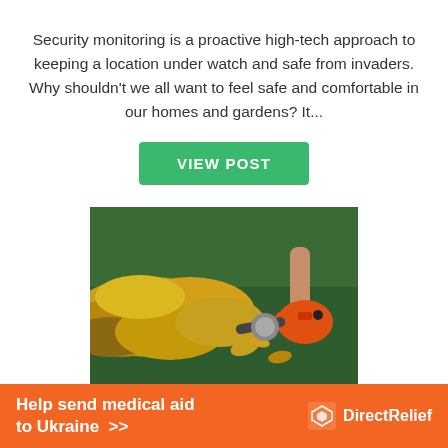Security monitoring is a proactive high-tech approach to keeping a location under watch and safe from invaders. Why shouldn't we all want to feel safe and comfortable in our homes and gardens? It...
VIEW POST
[Figure (photo): A person using an orange leaf blower on a green lawn covered with fallen yellow and brown autumn leaves.]
Help send medical aid to Ukraine >> Direct Relief